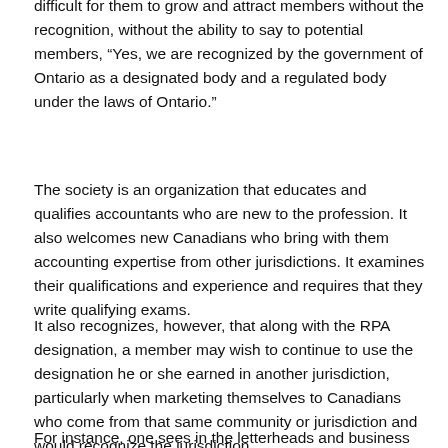difficult for them to grow and attract members without the recognition, without the ability to say to potential members, “Yes, we are recognized by the government of Ontario as a designated body and a regulated body under the laws of Ontario.”
The society is an organization that educates and qualifies accountants who are new to the profession. It also welcomes new Canadians who bring with them accounting expertise from other jurisdictions. It examines their qualifications and experience and requires that they write qualifying exams.
It also recognizes, however, that along with the RPA designation, a member may wish to continue to use the designation he or she earned in another jurisdiction, particularly when marketing themselves to Canadians who come from that same community or jurisdiction and would recognize the jurisdiction.
For instance, one sees in the letterheads and business